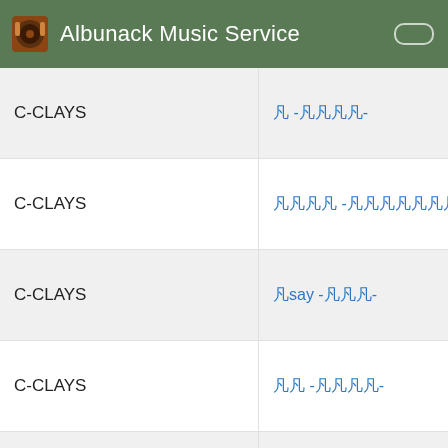Albunack Music Service
| Artist | Album |
| --- | --- |
| C-CLAYS | 凡 -凡凡凡凡- |
| C-CLAYS | 凡凡凡凡 -凡凡凡凡凡凡凡凡- |
| C-CLAYS | 凡say -凡凡凡- |
| C-CLAYS | 凡凡 -凡凡凡凡- |
| C-CLAYS | 凡凡 -Raven- |
| C-CLAYS & K2 SOUND | 凡凡 -凡凡凡凡凡凡- |
| C-CLAYS & K2 SOUND | 凡凡 X-Say |
| C-CLOWN | Young Love |
| C-Ro... | Be... Vol.2... |